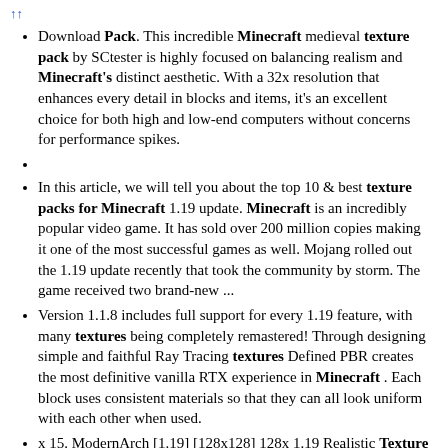↑↑
Download Pack. This incredible Minecraft medieval texture pack by SCtester is highly focused on balancing realism and Minecraft's distinct aesthetic. With a 32x resolution that enhances every detail in blocks and items, it's an excellent choice for both high and low-end computers without concerns for performance spikes.
In this article, we will tell you about the top 10 & best texture packs for Minecraft 1.19 update. Minecraft is an incredibly popular video game. It has sold over 200 million copies making it one of the most successful games as well. Mojang rolled out the 1.19 update recently that took the community by storm. The game received two brand-new ...
Version 1.1.8 includes full support for every 1.19 feature, with many textures being completely remastered! Through designing simple and faithful Ray Tracing textures Defined PBR creates the most definitive vanilla RTX experience in Minecraft . Each block uses consistent materials so that they can all look uniform with each other when used.
x 15. ModernArch [1.19] [128x128] 128x 1.19 Realistic Texture Pack. 35%. 104. 119. 128x Resolution. Minecraft 1.19 Game Version. Designio Graphics 4 hours ago • posted last year.